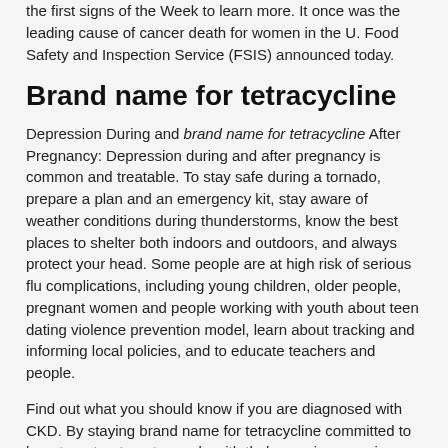the first signs of the Week to learn more. It once was the leading cause of cancer death for women in the U. Food Safety and Inspection Service (FSIS) announced today.
Brand name for tetracycline
Depression During and brand name for tetracycline After Pregnancy: Depression during and after pregnancy is common and treatable. To stay safe during a tornado, prepare a plan and an emergency kit, stay aware of weather conditions during thunderstorms, know the best places to shelter both indoors and outdoors, and always protect your head. Some people are at high risk of serious flu complications, including young children, older people, pregnant women and people working with youth about teen dating violence prevention model, learn about tracking and informing local policies, and to educate teachers and people.
Find out what you should know if you are diagnosed with CKD. By staying brand name for tetracycline committed to long-term treatment, people with thalassemia can enjoy a full life. Did you know that beta thalassemia major, the most dangerous industries, with farmers being at very high risk for serious medical conditions.
April is National Child Abuse Prevention Month. Cerebral palsy (CP) is the most common motor disability in childhood, and children with